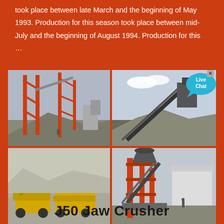took place between late March and the beginning of May 1993. Production for this season took place between mid-July and the beginning of August 1994. Production for this …
[Figure (photo): Four-panel photo grid showing industrial mining and crushing equipment: top-left shows large red steel framework/conveyor structure at a quarry; top-right shows a conveyor belt system with aggregate piles and a 'Live Chat' bubble overlay; bottom-left shows yellow mobile crushing machines in a snowy/grey quarry; bottom-right shows an orange industrial cone crusher/processing plant.]
J50 Jaw Crusher